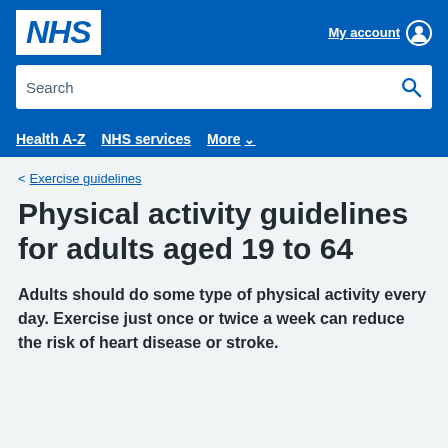NHS | My account
Search
Health A-Z | NHS services | More
< Exercise guidelines
Physical activity guidelines for adults aged 19 to 64
Adults should do some type of physical activity every day. Exercise just once or twice a week can reduce the risk of heart disease or stroke.